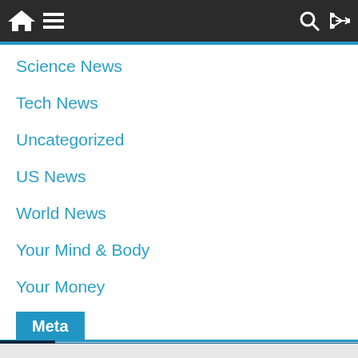Navigation bar with home, menu, search, and shuffle icons
Science News
Tech News
Uncategorized
US News
World News
Your Mind & Body
Your Money
Meta
[Figure (screenshot): Infolinks advertisement bar with Kohl's ad: 'Up to 60% off Clothing at Kohl's', 'Save up to 60% on clothing and homeware at Kohl's.com', kohls.com]